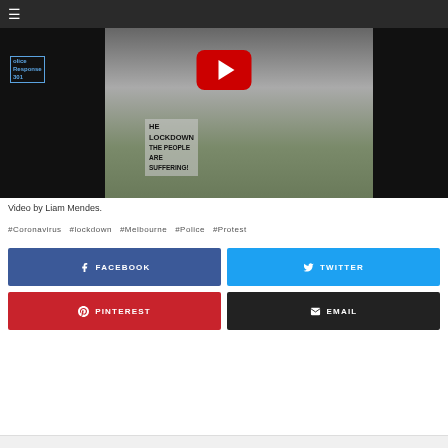[Figure (photo): YouTube video thumbnail showing a Melbourne police lockdown protest. A person holds a sign reading 'THE LOCKDOWN THE PEOPLE ARE SUFFERING!' with police officers on either side. A red YouTube play button overlay is centered on the image.]
Video by Liam Mendes.
#Coronavirus   #lockdown   #Melbourne   #Police   #Protest
FACEBOOK
TWITTER
PINTEREST
EMAIL